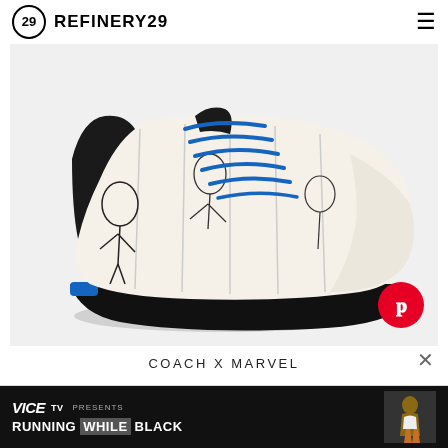REFINERY29
[Figure (photo): A Coach x Marvel sneaker — white low-top sneaker with black-and-white Marvel comic book print upper, blue laces, black sole with blue accent stripe at heel. Also features a Pinterest save button overlay in the bottom right corner.]
COACH X MARVEL
[Figure (screenshot): Advertisement banner for VICE TV Presents: Running While Black. Dark background with VICE TV logo on left, bold headline text, and a photo of a person on the right.]